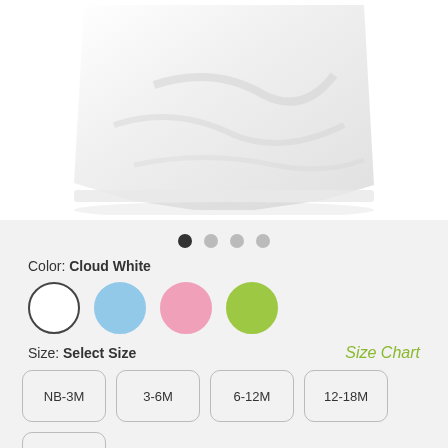[Figure (photo): Product photo of a white baby/infant t-shirt, showing the bottom hem and body of a plain white cotton garment against a white background.]
Color: Cloud White
Size: Select Size
Size Chart
NB-3M  3-6M  6-12M  12-18M  18-24M
Quantity:
Reg. £15.50